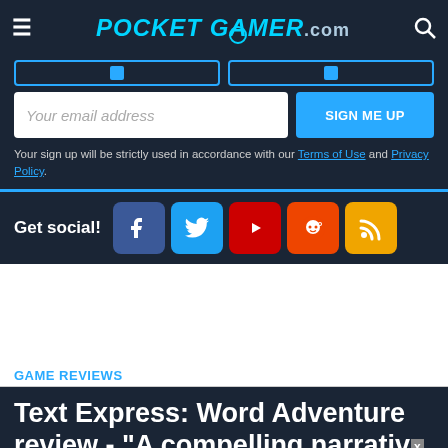POCKETGAMER.com
Your email address
SIGN ME UP
Your sign up will be strictly used in accordance with our Terms of Use and Privacy Policy.
Get social!
GAME REVIEWS
Text Express: Word Adventure review - "A compelling narrative that feels like a true labour of love"